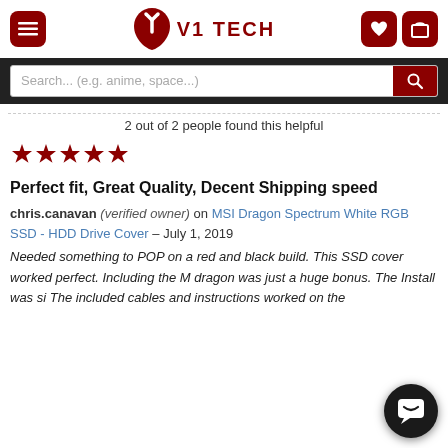V1 TECH
Search... (e.g. anime, space...)
2 out of 2 people found this helpful
Perfect fit, Great Quality, Decent Shipping speed
chris.canavan (verified owner) on MSI Dragon Spectrum White RGB SSD - HDD Drive Cover – July 1, 2019
Needed something to POP on a red and black build. This SSD cover worked perfect. Including the M dragon was just a huge bonus. The Install was si The included cables and instructions worked on the